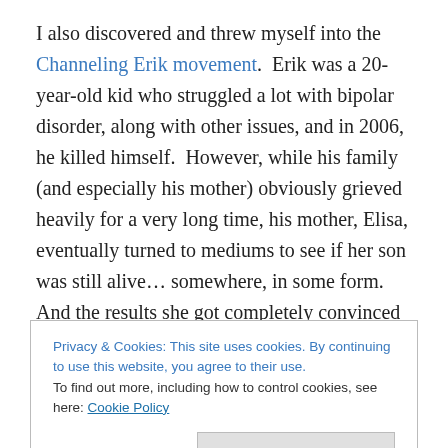I also discovered and threw myself into the Channeling Erik movement. Erik was a 20-year-old kid who struggled a lot with bipolar disorder, along with other issues, and in 2006, he killed himself. However, while his family (and especially his mother) obviously grieved heavily for a very long time, his mother, Elisa, eventually turned to mediums to see if her son was still alive… somewhere, in some form. And the results she got completely convinced this once hard-core atheist that there not only is an afterlife, but Erik is in it and he's still Erik. He's since become a
Privacy & Cookies: This site uses cookies. By continuing to use this website, you agree to their use. To find out more, including how to control cookies, see here: Cookie Policy
a 20-year-old-guy thing to say!